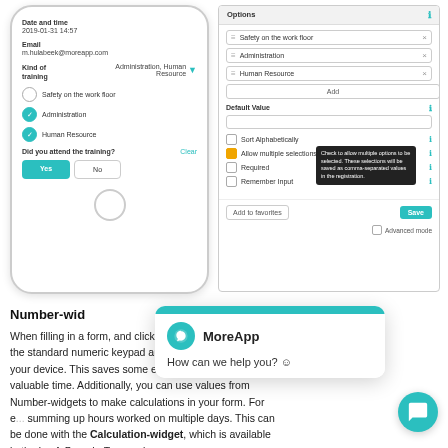[Figure (screenshot): Mobile phone mockup showing a form with Date and time, Email, Kind of training fields, checkboxes for Safety on the work floor, Administration, Human Resource, and Yes/No buttons for Did you attend the training?]
[Figure (screenshot): Desktop form panel showing Options with Safety on the work floor, Administration, Human Resource entries, Add button, Default Value field, checkboxes for Sort Alphabetically, Allow multiple selections (checked with tooltip), Required, Remember Input, with Add to favorites and Save buttons and Advanced mode checkbox.]
[Figure (screenshot): MoreApp chat popup with teal header, MoreApp logo and name, tagline 'How can we help you?' with smiley face, and a teal round chat bubble button.]
Number-wid
When filling in a form, and clicking on a Number widget, the standard numeric keypad automatically pops up on your device. This saves some extra seconds of your valuable time. Additionally, you can use values from Number-widgets to make calculations in your form. For example, summing up hours worked on multiple days. This can be done with the Calculation-widget, which is available in the Leaf, Branch, Tree and